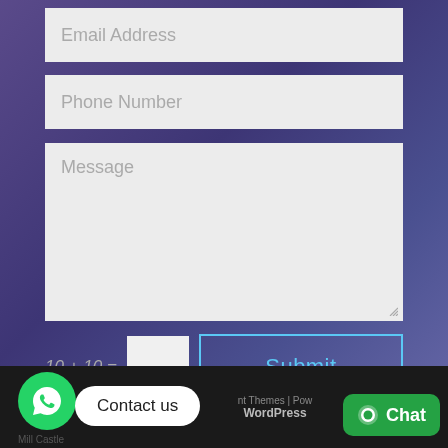Email Address
Phone Number
Message
10 + 10 =
Submit
Contact us
Themes | Powered by WordPress
Chat